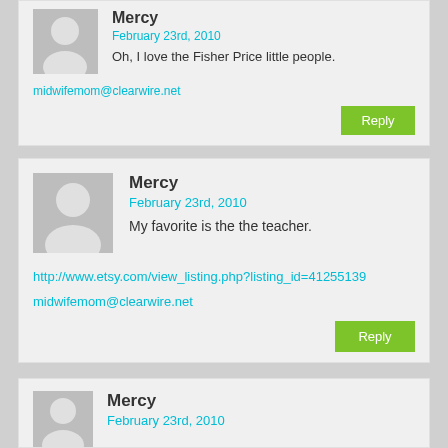Mercy
February 23rd, 2010
Oh, I love the Fisher Price little people.
midwifemom@clearwire.net
Reply
Mercy
February 23rd, 2010
My favorite is the the teacher.
http://www.etsy.com/view_listing.php?listing_id=41255139
midwifemom@clearwire.net
Reply
Mercy
February 23rd, 2010